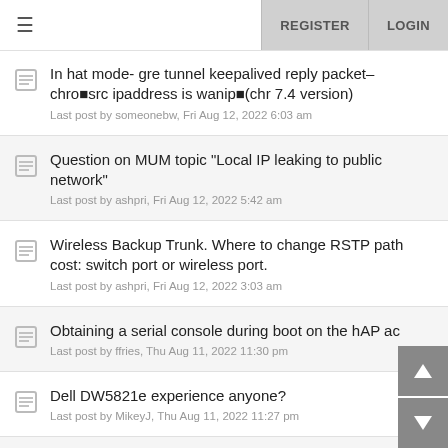≡  REGISTER  LOGIN
In hat mode- gre tunnel keepalived reply packet– chro■src ipaddress is wanip■(chr 7.4 version)
Last post by someonebw, Fri Aug 12, 2022 6:03 am
Question on MUM topic "Local IP leaking to public network"
Last post by ashpri, Fri Aug 12, 2022 5:42 am
Wireless Backup Trunk. Where to change RSTP path cost: switch port or wireless port.
Last post by ashpri, Fri Aug 12, 2022 3:03 am
Obtaining a serial console during boot on the hAP ac
Last post by ffries, Thu Aug 11, 2022 11:30 pm
Dell DW5821e experience anyone?
Last post by MikeyJ, Thu Aug 11, 2022 11:27 pm
IPSec VPN Bi-Directional Communication not working
Last post by pietvwakpm, Thu Aug 11, 2022 10:56 pm